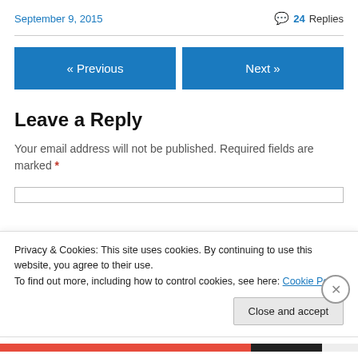September 9, 2015
💬 24 Replies
« Previous
Next »
Leave a Reply
Your email address will not be published. Required fields are marked *
Privacy & Cookies: This site uses cookies. By continuing to use this website, you agree to their use.
To find out more, including how to control cookies, see here: Cookie Policy
Close and accept